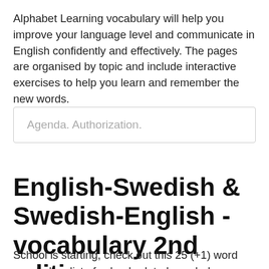Alphabet Learning vocabulary will help you improve your language level and communicate in English confidently and effectively. The pages are organised by topic and include interactive exercises to help you learn and remember the new words.
Agenda. Authorization.
English-Swedish & Swedish-English - vocabulary 2nd edition
School is starting, check out this 25 (+1) word vocabulary list of school-related vocabulary words